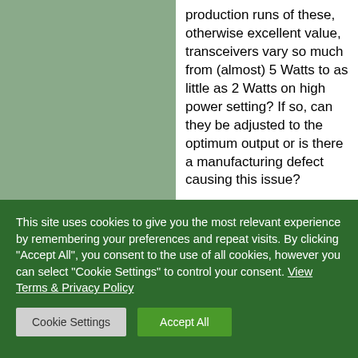production runs of these, otherwise excellent value, transceivers vary so much from (almost) 5 Watts to as little as 2 Watts on high power setting? If so, can they be adjusted to the optimum output or is there a manufacturing defect causing this issue?

Tnx es 73 de M3HIM
[Figure (illustration): Cartoon avatar of a person with black hair and white eyes on a blue background]
14 November 2017  Rob
Hi, had bought a set of 4 of these assuming th...
This site uses cookies to give you the most relevant experience by remembering your preferences and repeat visits. By clicking "Accept All", you consent to the use of all cookies, however you can select "Cookie Settings" to control your consent. View Terms & Privacy Policy